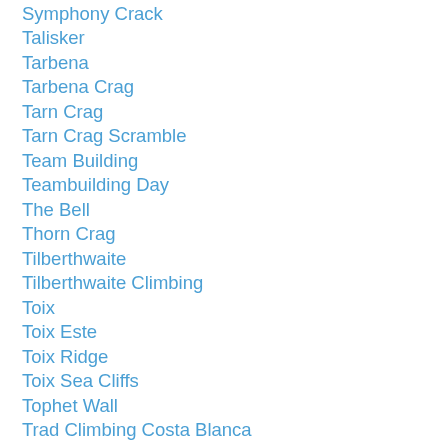Symphony Crack
Talisker
Tarbena
Tarbena Crag
Tarn Crag
Tarn Crag Scramble
Team Building
Teambuilding Day
The Bell
Thorn Crag
Tilberthwaite
Tilberthwaite Climbing
Toix
Toix Este
Toix Ridge
Toix Sea Cliffs
Tophet Wall
Trad Climbing Costa Blanca
Trad Climbing Course
Trail Running
Trail Running Costa Blanca